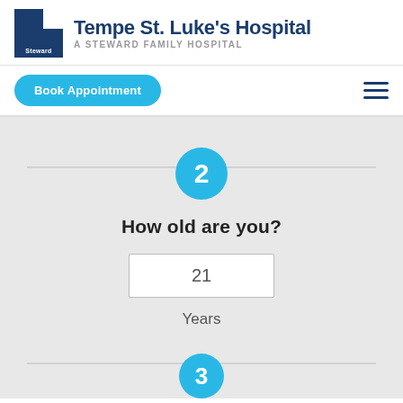[Figure (logo): Tempe St. Luke's Hospital logo — blue square icon with Steward label, next to hospital name text]
Tempe St. Luke's Hospital — A STEWARD FAMILY HOSPITAL
Book Appointment
Step 2 — How old are you? Input: 21 Years
Step 3 (partial)